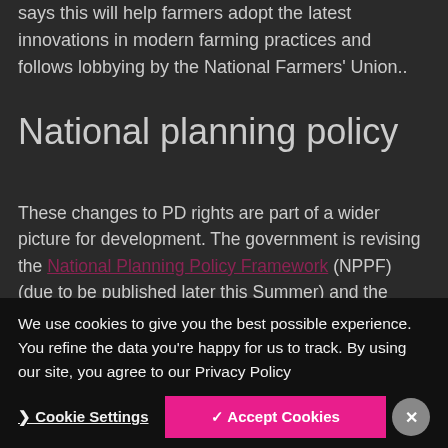says this will help farmers adopt the latest innovations in modern farming practices and follows lobbying by the National Farmers' Union..
National planning policy
These changes to PD rights are part of a wider picture for development. The government is revising the National Planning Policy Framework (NPPF) (due to be published later this Summer) and the policy changes proposed are predominantly intended to speed up the delivery of housing development in England.
House...P...Schedul...
We use cookies to give you the best possible experience. You refine the data you're happy for us to track. By using our site, you agree to our Privacy Policy